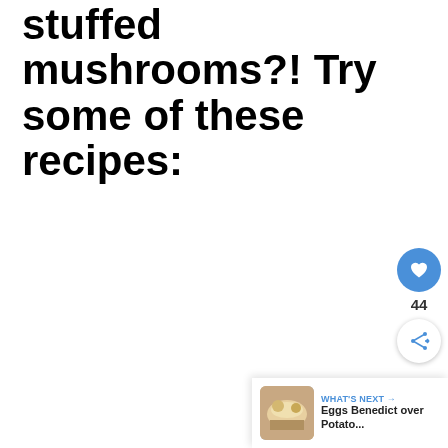stuffed mushrooms?! Try some of these recipes:
[Figure (other): Like/heart button (blue circle with heart icon), count of 44, and share button]
[Figure (other): What's Next bar showing Eggs Benedict over Potato... with thumbnail image]